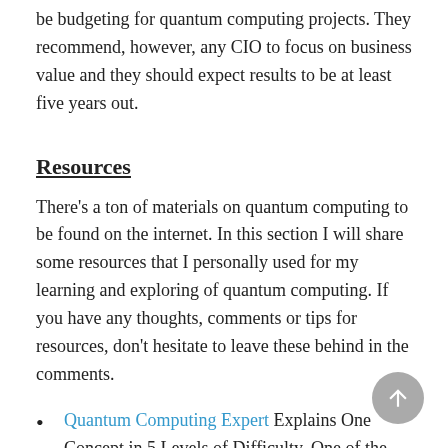be budgeting for quantum computing projects. They recommend, however, any CIO to focus on business value and they should expect results to be at least five years out.
Resources
There’s a ton of materials on quantum computing to be found on the internet. In this section I will share some resources that I personally used for my learning and exploring of quantum computing. If you have any thoughts, comments or tips for resources, don’t hesitate to leave these behind in the comments.
Quantum Computing Expert Explains One Concept in 5 Levels of Difficulty. One of the best videos on quantum computing I have seen.
IBM Q. IBM’s website on quantum computing...